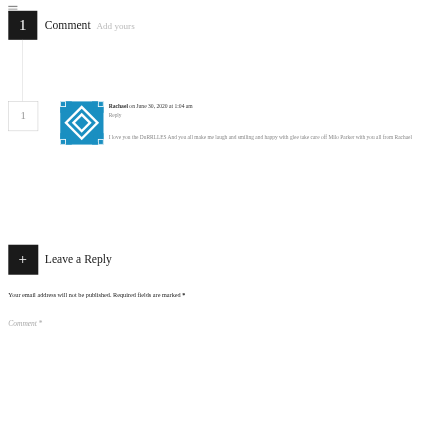Comment  Add yours
Rachael on June 30, 2020 at 1:04 am
Reply
I love you the DuRRLLES And you all make me laugh and smiling and happy with glee take care off Milo Parker with you all from Rachael
Leave a Reply
Your email address will not be published. Required fields are marked *
Comment *